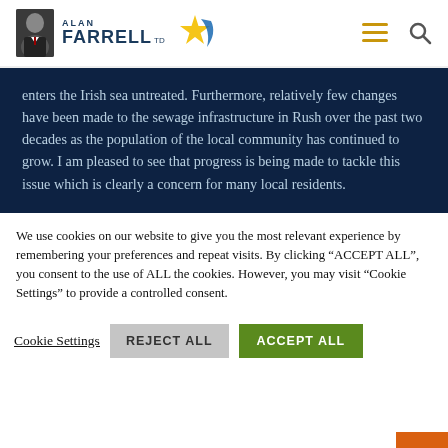ALAN FARRELL TD
enters the Irish sea untreated. Furthermore, relatively few changes have been made to the sewage infrastructure in Rush over the past two decades as the population of the local community has continued to grow. I am pleased to see that progress is being made to tackle this issue which is clearly a concern for many local residents.
We use cookies on our website to give you the most relevant experience by remembering your preferences and repeat visits. By clicking "ACCEPT ALL", you consent to the use of ALL the cookies. However, you may visit "Cookie Settings" to provide a controlled consent.
Cookie Settings | REJECT ALL | ACCEPT ALL